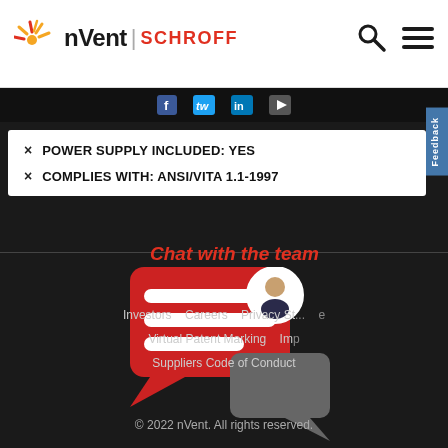[Figure (logo): nVent SCHROFF logo with sunburst icon]
[Figure (infographic): Search and hamburger menu navigation icons]
[Figure (infographic): Social media icons: Facebook, Twitter, LinkedIn, YouTube]
× POWER SUPPLY INCLUDED: YES
× COMPLIES WITH: ANSI/VITA 1.1-1997
[Figure (illustration): Chat with the team illustration: red speech bubble with white lines and person avatar, grey speech bubble below, with text 'Chat with the team' in red italic]
Investors   Careers   Privacy St...   Virtual Patent Marking   Imp...   Suppliers Code of Conduct
© 2022 nVent. All rights reserved.
Feedback